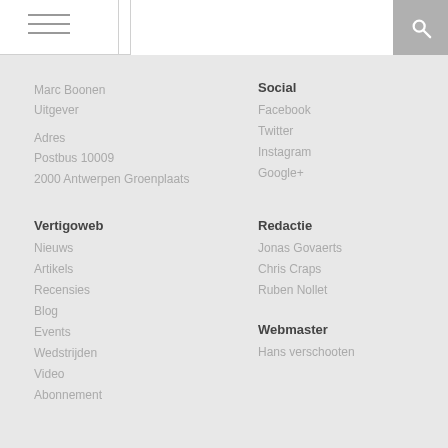Navigation bar with hamburger menu and search
Marc Boonen
Uitgever
Adres
Postbus 10009
2000 Antwerpen Groenplaats
Social
Facebook
Twitter
Instagram
Google+
Vertigoweb
Nieuws
Artikels
Recensies
Blog
Events
Wedstrijden
Video
Abonnement
Redactie
Jonas Govaerts
Chris Craps
Ruben Nollet
Webmaster
Hans verschooten